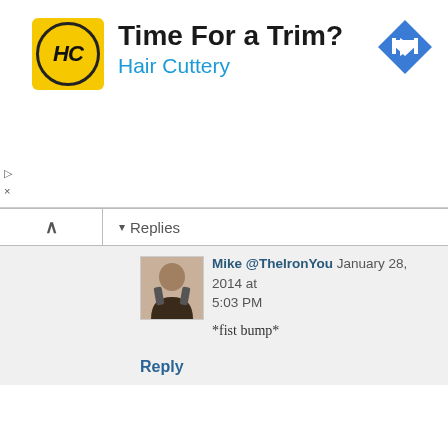[Figure (infographic): Hair Cuttery advertisement banner. Yellow square logo with 'HC' inside a circle, headline 'Time For a Trim?' in bold dark text, 'Hair Cuttery' in blue text, and a blue diamond-shaped map/navigation icon on the right.]
▷
×
▾ Replies
Mike @TheIronYou January 28, 2014 at 5:03 PM

*fist bump*
Reply
Unknown January 28, 2014 at 10:52 PM
Mike, do you find this to be a little sugary at times? Maybe my avocados weren't big enough, but I feel like the maple syrup ended up being the dominant flavor.